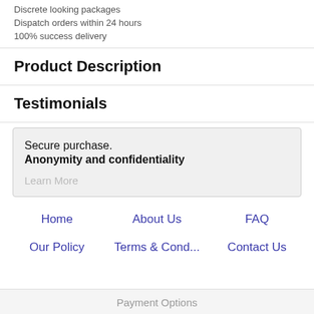Discrete looking packages
Dispatch orders within 24 hours
100% success delivery
Product Description
Testimonials
Secure purchase.
Anonymity and confidentiality

Learn More
Home
About Us
FAQ
Our Policy
Terms & Cond...
Contact Us
Payment Options